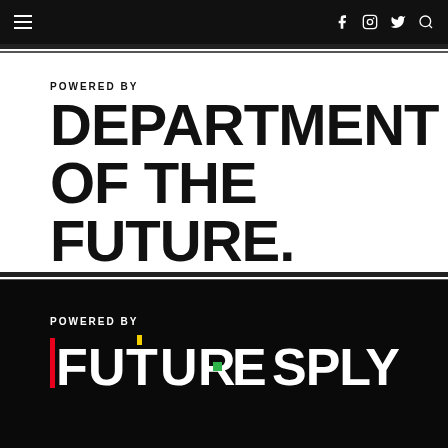Navigation bar with hamburger menu and social icons (Facebook, Instagram, Twitter, Search)
POWERED BY
DEPARTMENT OF THE FUTURE.
[Figure (logo): FUTURE SPLY logo in white on black background with colored accents (red, yellow, green) on certain letters, preceded by POWERED BY label]
POWERED BY